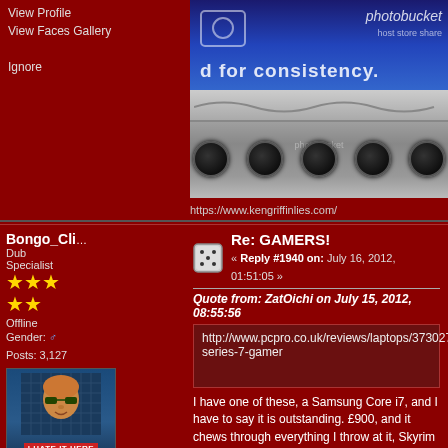View Profile
View Faces Gallery
Ignore
[Figure (screenshot): Forum post image showing a photobucket placeholder banner (blue, 'd for consistency.') and a speaker/audio hardware photo below it]
https://www.kengriffinlies.com/
Bongo_Cli
Dub Specialist
★★★★★
Offline
Gender: ♂
Posts: 3,127
[Figure (illustration): User avatar: cartoon bald man with glasses, 'I HATE IT HERE' label below]
London crew!
Re: GAMERS!
« Reply #1940 on: July 16, 2012, 01:51:05 »
Quote from: ZatOichi on July 15, 2012, 08:55:56
http://www.pcpro.co.uk/reviews/laptops/373027/samsung-series-7-gamer
I have one of these, a Samsung Core i7, and I have to say it is outstanding. £900, and it chews through everything I throw at it, Skyrim included.
Very recommended